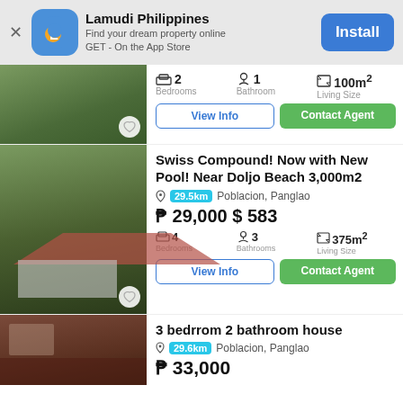[Figure (screenshot): Lamudi Philippines app install banner with app icon, name, tagline and Install button]
2 Bedrooms | 1 Bathroom | 100m² Living Size
View Info | Contact Agent
Swiss Compound! Now with New Pool! Near Doljo Beach 3,000m2
29.5km Poblacion, Panglao
₱ 29,000 $ 583
4 Bedrooms | 3 Bathrooms | 375m² Living Size
View Info | Contact Agent
3 bedrrom 2 bathroom house
29.6km Poblacion, Panglao
₱ 33,000